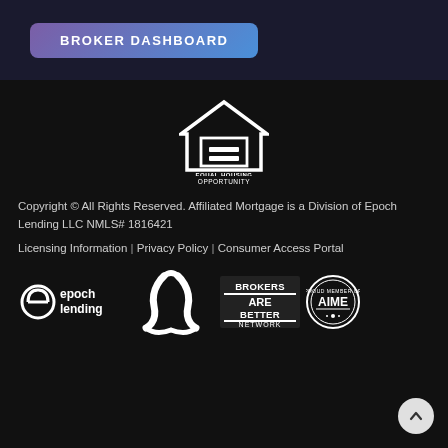BROKER DASHBOARD
[Figure (logo): Equal Housing Opportunity logo — white outline of a house with an equals sign, text EQUAL HOUSING OPPORTUNITY below]
Copyright © All Rights Reserved. Affiliated Mortgage is a Division of Epoch Lending LLC NMLS# 1816421
Licensing Information | Privacy Policy | Consumer Access Portal
[Figure (logo): Epoch Lending logo — white stylized e with epoch lending text]
[Figure (logo): Affiliated Mortgage stylized logo — white abstract intertwined shapes]
[Figure (logo): Brokers Are Better Network logo — white text on dark background]
[Figure (logo): AIME badge logo — circular badge with AIME text]